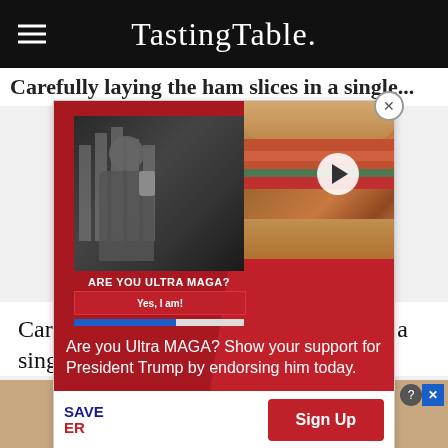Tasting Table.
Carefully laying the ham slices in a single layer i...
[Figure (screenshot): Advertisement overlay showing a political ad (Are you Ultra MAGA? Show your support for President Trump by endorsing him today.) on the left with a black-and-white image of a man giving thumbs up in front of government building, and a sandwich photo on the right with a video play button. Bottom shows SAVE AMERICA logo and Sign Up button.]
Carefully lay the leftover ham slices in a single layer i
[Figure (screenshot): Bottom banner advertisement showing people icons and 'Hold and Move' text on a tan/wood background, with a question mark icon and X close button.]